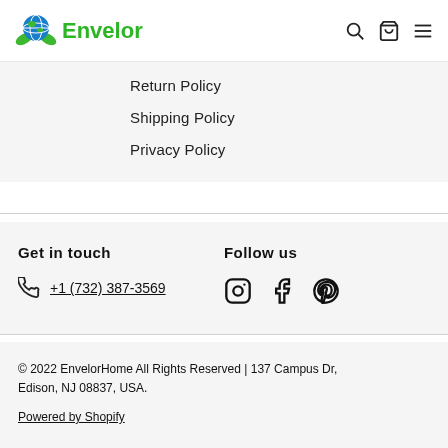Envelor
Return Policy
Shipping Policy
Privacy Policy
Get in touch
+1 (732) 387-3569
Follow us
© 2022 EnvelorHome All Rights Reserved | 137 Campus Dr, Edison, NJ 08837, USA.
Powered by Shopify